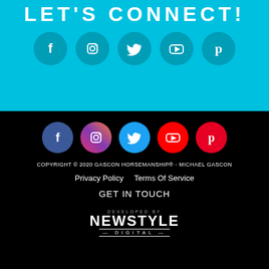[Figure (illustration): Cyan background section with partial 'LET'S CONNECT!' title (cropped at top) in bold white uppercase letters, and a row of 5 white social media icon circles (Facebook, Instagram, Twitter, YouTube, Pinterest) on cyan background]
[Figure (illustration): Black footer section with 5 colored social media icon circles (Facebook blue, Instagram pink-purple, Twitter blue, YouTube red, Pinterest red), copyright text, privacy/terms links, GET IN TOUCH link, and New Style Digital logo]
COPYRIGHT © 2020 GASCON HORSEMANSHIP® - MICHAEL GASCON
Privacy Policy    Terms Of Service
GET IN TOUCH
DEVELOPED BY
NEWSTYLE
DIGITAL